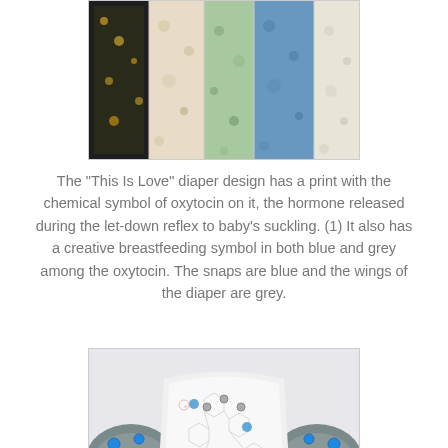[Figure (photo): Top portion of multiple cloth diapers with colorful patterned prints arranged side by side, partially cropped at top]
The "This Is Love" diaper design has a print with the chemical symbol of oxytocin on it, the hormone released during the let-down reflex to baby's suckling.  (1)  It also has a creative breastfeeding symbol in both blue and grey among the oxytocin.  The snaps are blue and the wings of the diaper are grey.
[Figure (photo): A white cloth diaper with chemical symbol of oxytocin print, blue snaps, and grey wings spread flat on a white surface]